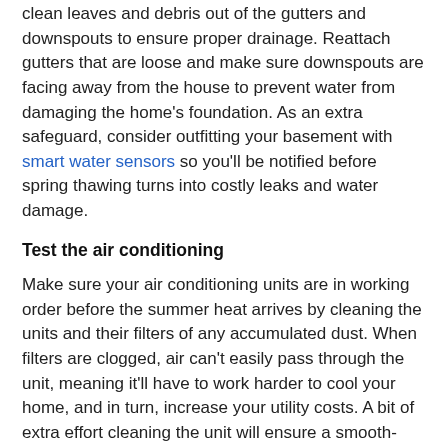clean leaves and debris out of the gutters and downspouts to ensure proper drainage. Reattach gutters that are loose and make sure downspouts are facing away from the house to prevent water from damaging the home's foundation. As an extra safeguard, consider outfitting your basement with smart water sensors so you'll be notified before spring thawing turns into costly leaks and water damage.
Test the air conditioning
Make sure your air conditioning units are in working order before the summer heat arrives by cleaning the units and their filters of any accumulated dust. When filters are clogged, air can't easily pass through the unit, meaning it'll have to work harder to cool your home, and in turn, increase your utility costs. A bit of extra effort cleaning the unit will ensure a smooth-running system and lower cooling costs.
Trim bushes and overgrowth
Tidying the landscape around your home not only helps elevate the appearance of your property but can also eliminate unnecessary wear. Shrubs, bushes, and trees in full bloom can often rub against your home's windows and siding, potentially damaging window glass or exterior paint.